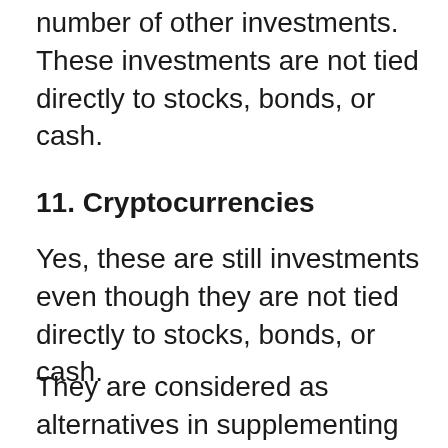number of other investments. These investments are not tied directly to stocks, bonds, or cash.
11. Cryptocurrencies
Yes, these are still investments even though they are not tied directly to stocks, bonds, or cash.
They are considered as alternatives in supplementing your portfolio.